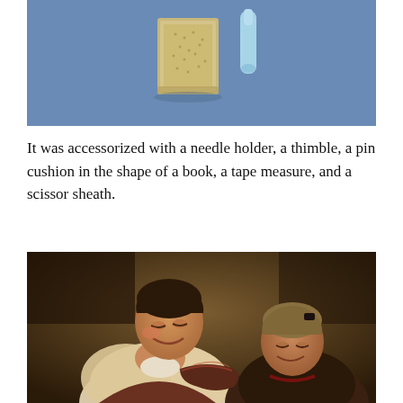[Figure (photo): Photograph of sewing accessories on a blue background: a pin cushion in the shape of a book, a thimble, and other small sewing tools.]
It was accessorized with a needle holder, a thimble, a pin cushion in the shape of a book, a tape measure, and a scissor sheath.
[Figure (photo): A classical painting depicting two young women smiling and looking down at a piece of fabric or clothing they are examining together. Oil painting style with dark warm tones.]